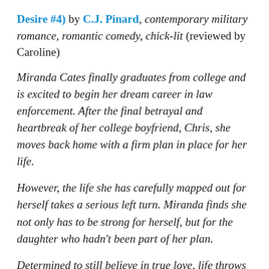Desire #4) by C.J. Pinard, contemporary military romance, romantic comedy, chick-lit (reviewed by Caroline)
Miranda Cates finally graduates from college and is excited to begin her dream career in law enforcement. After the final betrayal and heartbreak of her college boyfriend, Chris, she moves back home with a firm plan in place for her life.
However, the life she has carefully mapped out for herself takes a serious left turn. Miranda finds she not only has to be strong for herself, but for the daughter who hadn't been part of her plan.
Determined to still believe in true love, life throws Miranda one more wicked curveball. She meets Jace Lawless, a hot minor league baseball player, whose warm aqua eyes...